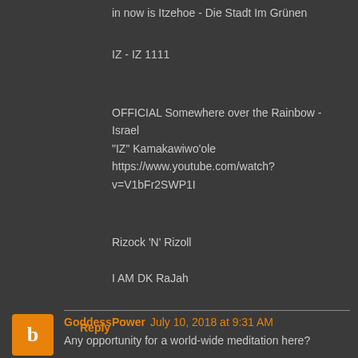in now is Itzehoe - Die Stadt Im Grünen
IZ - IZ 1111
OFFICIAL Somewhere over the Rainbow - Israel "IZ" Kamakawiwo'ole https://www.youtube.com/watch?v=V1bFr2SWP1I
Rizock 'N' Rizoll
I AM DK RaJah
Reply
GoddessPower July 10, 2018 at 9:31 AM
Any opportunity for a world-wide meditation here?